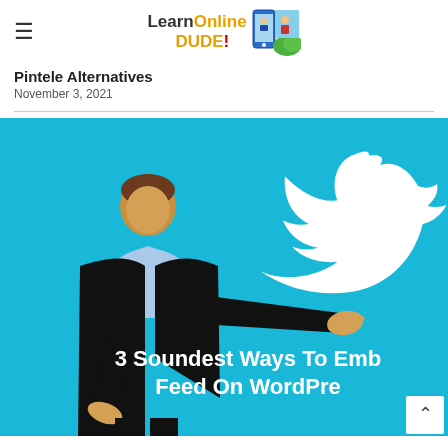LearnOnlineDude! [logo]
Pintele Alternatives
November 3, 2021
[Figure (illustration): Illustration of a man in a black suit holding up his hand toward a large white Twitter bird logo, on a cyan/blue background. Text overlay reads '3 Soundest Ways To Embed Twitter Feed On WordPress']